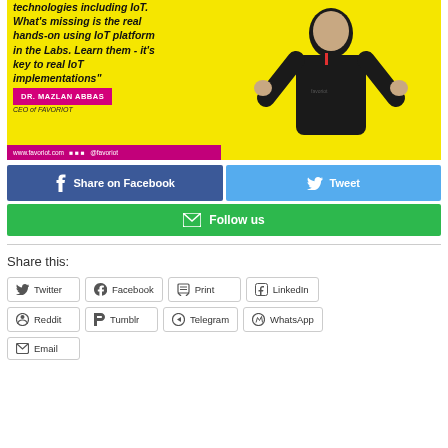[Figure (photo): Yellow background banner ad for Favoriot with italic bold text reading 'technologies including IoT. What's missing is the real hands-on using IoT platform in the Labs. Learn them - it's key to real IoT implementations"', a pink button labeled DR. MAZLAN ABBAS, text CEO of FAVORIOT, a pink footer bar with www.favoriot.com and social icons, and a person in dark jacket on the right side.]
Share on Facebook
Tweet
Follow us
Share this:
Twitter
Facebook
Print
LinkedIn
Reddit
Tumblr
Telegram
WhatsApp
Email